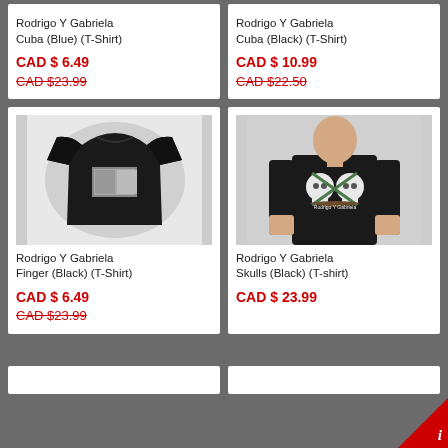Rodrigo Y Gabriela Cuba (Blue) (T-Shirt)
CAD $ 6.49
CAD $23.99
Rodrigo Y Gabriela Cuba (Black) (T-Shirt)
CAD $ 10.99
CAD $22.50
[Figure (photo): Black t-shirt with graphic print (Rodrigo Y Gabriela Finger design)]
Rodrigo Y Gabriela Finger (Black) (T-Shirt)
CAD $ 6.49
CAD $23.99
[Figure (photo): Black t-shirt with skulls graphic (Rodrigo Y Gabriela Skulls design)]
Rodrigo Y Gabriela Skulls (Black) (T-shirt)
CAD $ 23.99